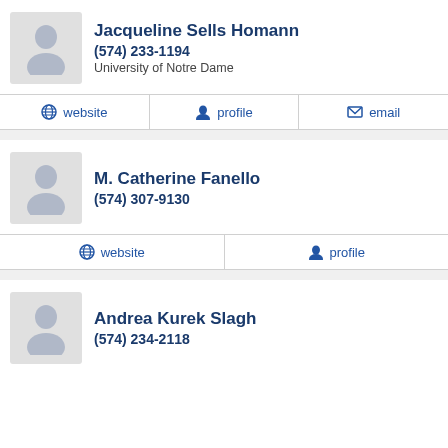Jacqueline Sells Homann
(574) 233-1194
University of Notre Dame
website | profile | email
M. Catherine Fanello
(574) 307-9130
website | profile
Andrea Kurek Slagh
(574) 234-2118